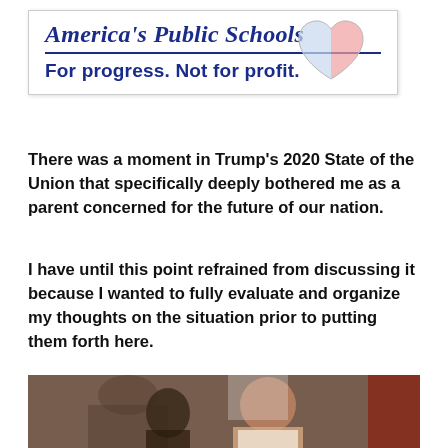[Figure (logo): America's Public Schools logo with tagline 'For progress. Not for profit.' and a heart graphic in red/blue/white]
There was a moment in Trump's 2020 State of the Union that specifically deeply bothered me as a parent concerned for the future of our nation.
I have until this point refrained from discussing it because I wanted to fully evaluate and organize my thoughts on the situation prior to putting them forth here.
[Figure (photo): Photo of two Black women/girls, one younger and one adult, at what appears to be a formal event]